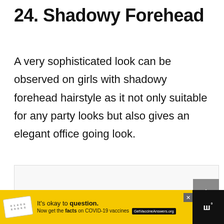24. Shadowy Forehead
A very sophisticated look can be observed on girls with shadowy forehead hairstyle as it not only suitable for any party looks but also gives an elegant office going look.
[Figure (other): Blank image placeholder area for a shadowy forehead hairstyle photo]
[Figure (other): Advertisement banner: It's okay to question. Now get the facts on COVID-19 vaccines. GetVaccineAnswers.org]